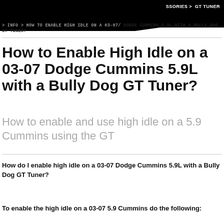SSORIES > GT TUNER
> INFO > HOW TO ENABLE HIGH IDLE ON A 03-07/ DODGE CUMMINS 5.9L WITH A BULLY DOG GT TUNER?
How to Enable High Idle on a 03-07 Dodge Cummins 5.9L with a Bully Dog GT Tuner?
How to enable and use high idle on a 5.9 Cummins using the GT
How do I enable high idle on a 03-07 Dodge Cummins 5.9L with a Bully Dog GT Tuner?
To enable the high idle on a 03-07 5.9 Cummins do the following: